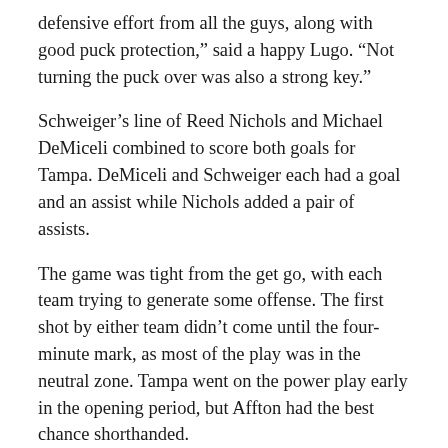defensive effort from all the guys, along with good puck protection,” said a happy Lugo. “Not turning the puck over was also a strong key.”
Schweiger’s line of Reed Nichols and Michael DeMiceli combined to score both goals for Tampa. DeMiceli and Schweiger each had a goal and an assist while Nichols added a pair of assists.
The game was tight from the get go, with each team trying to generate some offense. The first shot by either team didn’t come until the four-minute mark, as most of the play was in the neutral zone. Tampa went on the power play early in the opening period, but Affton had the best chance shorthanded.
The Scorpions broke the scoreless tie with 9:28 to go in the first period. Schweiger, who was behind the net, found DeMiceli parked in front of the goal. DeMiceli received Schweiger’s pass and made no mistake letting the puck go with a hard wrist shot that beat goaltender Brendan Shuck